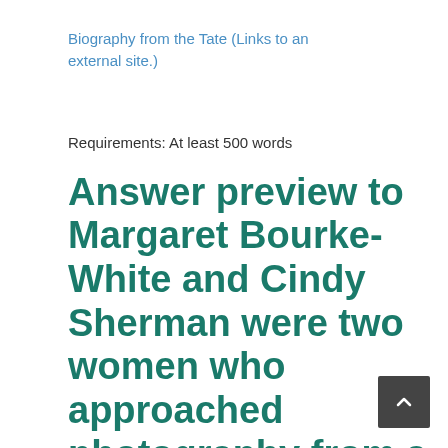Biography from the Tate (Links to an external site.)
Requirements: At least 500 words
Answer preview to Margaret Bourke-White and Cindy Sherman were two women who approached photography from a new angle